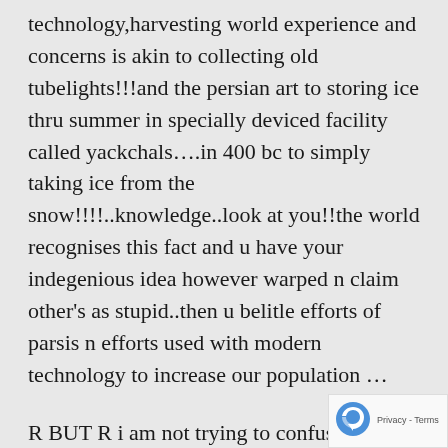technology,harvesting world experience and concerns is akin to collecting old tubelights!!!and the persian art to storing ice thru summer in specially deviced facility called yackchals….in 400 bc to simply taking ice from the snow!!!!..knowledge..look at you!!the world recognises this fact and u have your indegenious idea however warped n claim other's as stupid..then u belitle efforts of parsis n efforts used with modern technology to increase our population …
R BUT R i am not trying to confuse anyone with satya prakash..infact it was one of you you linked me to satya prakash…and all i said was you can also link me to Vibhu Prakash as he also shares